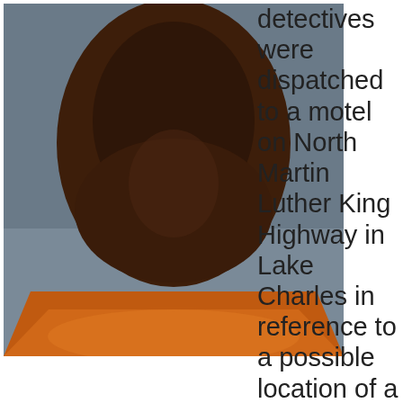[Figure (photo): Mugshot of a person wearing an orange jumpsuit against a gray background. Only the lower face, neck, and upper chest are visible.]
detectives were dispatched to a motel on North Martin Luther King Highway in Lake Charles in reference to a possible location of a 14 year old girl who had been reported as a runaway.  When detectives arrived at the motel they located the girl in a room, who stated she had been a victim of sex trafficking since January 2019.  The victim advised detectives she had been beaten and forced to have sexual intercourse with numerous men.  During further investigation detectives learned Mariah C. Miller, 24, 216 S. Bowers Street, Iowa, whom the victim was found with in the motel,